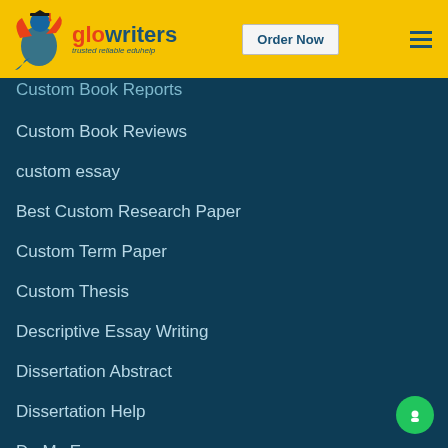[Figure (logo): GloWriters logo with graduation cap bird icon, text 'glowriters' in red and dark blue, tagline 'trusted reliable eduhelp']
Order Now | (hamburger menu)
Custom Book Reports
Custom Book Reviews
custom essay
Best Custom Research Paper
Custom Term Paper
Custom Thesis
Descriptive Essay Writing
Dissertation Abstract
Dissertation Help
Do My Essay
Do my paper